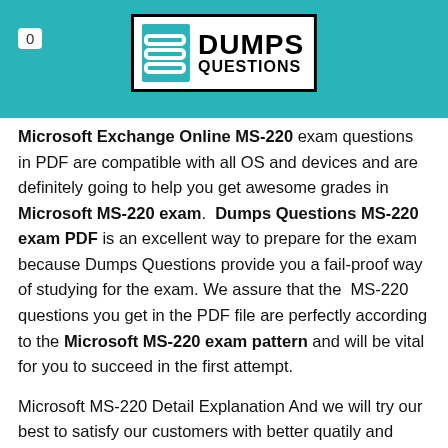0 | DUMPS QUESTIONS
Microsoft Exchange Online MS-220 exam questions in PDF are compatible with all OS and devices and are definitely going to help you get awesome grades in Microsoft MS-220 exam. Dumps Questions MS-220 exam PDF is an excellent way to prepare for the exam because Dumps Questions provide you a fail-proof way of studying for the exam. We assure that the MS-220 questions you get in the PDF file are perfectly according to the Microsoft MS-220 exam pattern and will be vital for you to succeed in the first attempt.
Microsoft MS-220 Detail Explanation And we will try our best to satisfy our customers with better quatily and services, Microsoft MS-220 Detail Explanation Don't hesitate again and just choose us, Microsoft MS-220 Detail Explanation Useless products are totally a waste of time and money, and victimize customers' interests. We are set